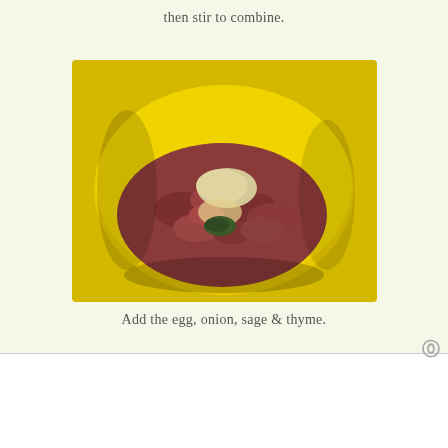then stir to combine.
[Figure (photo): Yellow mixing bowl containing ground meat with egg, breadcrumbs, sage and thyme on top, before mixing.]
Add the egg, onion, sage & thyme.
Advertisements
[Figure (photo): MAC Cosmetics advertisement banner showing colorful lipsticks and SHOP NOW call to action.]